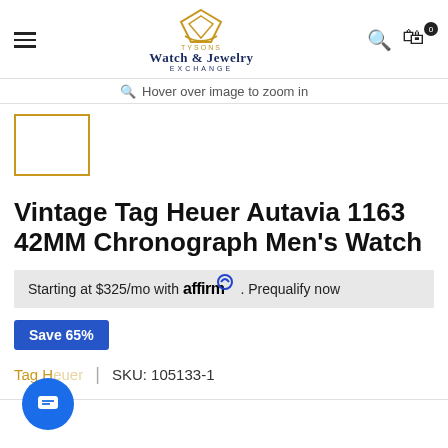Tysons Watch & Jewelry Exchange
Hover over image to zoom in
[Figure (other): Thumbnail image placeholder with gold border]
Vintage Tag Heuer Autavia 1163 42MM Chronograph Men's Watch
Starting at $325/mo with affirm. Prequalify now
Save 65%
Tag Heuer | SKU: 105133-1